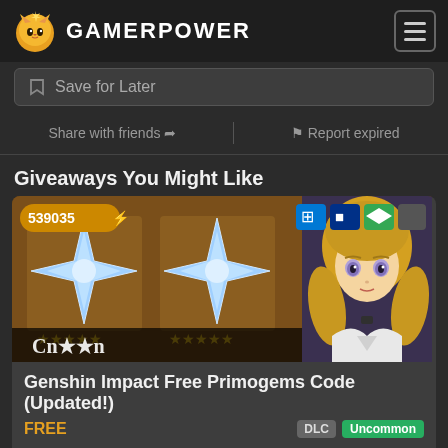GAMERPOWER
Save for Later
Share with friends  |  Report expired
Giveaways You Might Like
[Figure (screenshot): Genshin Impact game screenshot showing star gem items and anime character with platform icons (Windows, PlayStation, Android, Apple)]
Genshin Impact Free Primogems Code (Updated!)
FREE
DLC  Uncommon
Claim your free code for Genshin Impact and receive Primogems at no cost! Each code unlocks 50 Pr...